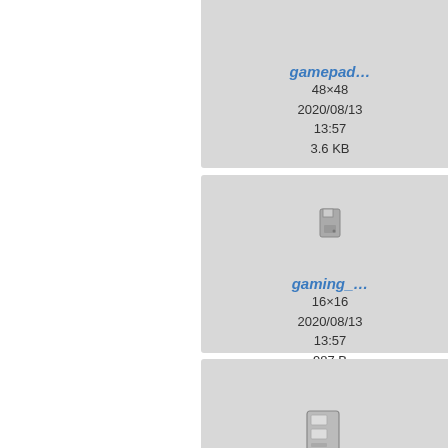[Figure (screenshot): File browser/wiki page showing image file thumbnails and metadata for gamepad and gaming console PNG files. Cards show filenames, dimensions, dates, and file sizes.]